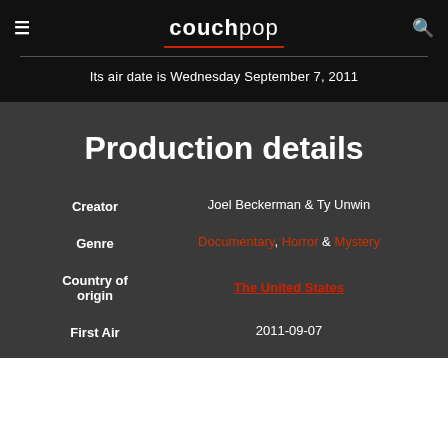couchpop
Its air date is Wednesday September 7, 2011
Production details
| Field | Value |
| --- | --- |
| Creator | Joel Beckerman & Ty Unwin |
| Genre | Documentary, Horror & Mystery |
| Country of origin | The United States |
| First Air | 2011-09-07 |